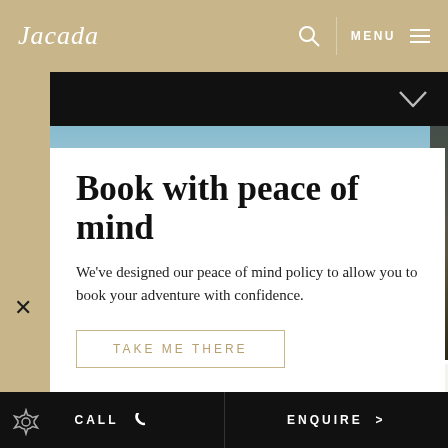Jacada   MENU
[Figure (screenshot): Navigation bar with up/down chevron arrows on black background]
[Figure (photo): Mountain landscape with snow-capped peaks, partially visible behind white modal panel]
Book with peace of mind
We've designed our peace of mind policy to allow you to book your adventure with confidence.
TAKE ME THERE
Spend your time enjoying the beautiful Mendoza region. Visit wineries, enjoy the restaurants or simply relax at your hotel.
CALL   ENQUIRE >